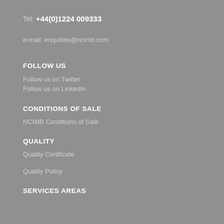Tel: +44(0)1224 009333
e-mail: enquiries@ncimb.com
FOLLOW US
Follow us on Twitter
Follow us on LinkedIn
CONDITIONS OF SALE
NCIMB Conditions of Sale
QUALITY
Quality Certificate
Quality Policy
SERVICES AREAS